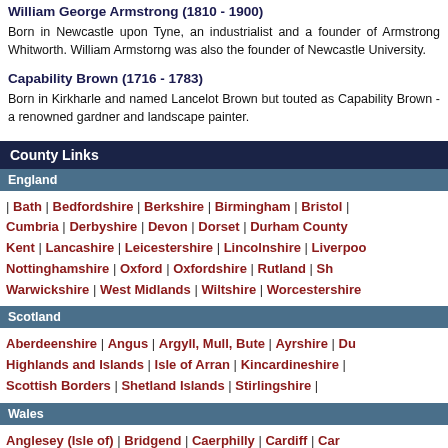William George Armstrong (1810 - 1900)
Born in Newcastle upon Tyne, an industrialist and a founder of Armstrong Whitworth. William Armstorng was also the founder of Newcastle University.
Capability Brown (1716 - 1783)
Born in Kirkharle and named Lancelot Brown but touted as Capability Brown - a renowned gardner and landscape painter.
County Links
England
| Bath | Bedfordshire | Berkshire | Birmingham | Bristol | Cumbria | Derbyshire | Devon | Dorset | Durham County | Kent | Lancashire | Leicestershire | Lincolnshire | Liverpool | Nottinghamshire | Oxford | Oxfordshire | Rutland | Shropshire | Warwickshire | West Midlands | Wiltshire | Worcestershire |
Scotland
Aberdeenshire | Angus | Argyll, Mull, Bute | Ayrshire | Dumfries | Highlands and Islands | Isle of Arran | Kincardineshire | Scottish Borders | Shetland Islands | Stirlingshire |
Wales
Anglesey (Isle of) | Bridgend | Caerphilly | Cardiff | Carmarthenshire | Merthyr Tydfil | Monmouthshire | Neath Port Talbot | Newport | Wrexham |
Northern Ireland
Antrim | Belfast | Down | Fermanagh | Londonderry | Tyrone |
Ireland